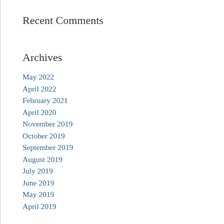Recent Comments
Archives
May 2022
April 2022
February 2021
April 2020
November 2019
October 2019
September 2019
August 2019
July 2019
June 2019
May 2019
April 2019